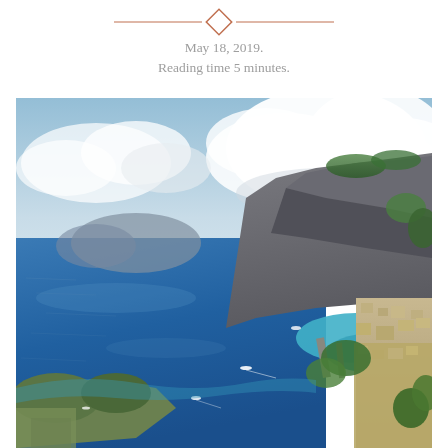[Figure (illustration): Decorative horizontal ornament with diamond shape in center, flanked by horizontal lines, in terracotta/orange color]
May 18, 2019.
Reading time 5 minutes.
[Figure (photo): Aerial photograph of a coastal Mediterranean landscape, likely Capri, Italy. Shows deep blue sea on the left, dramatic rocky cliffs on the right, a small harbor with boats and town buildings visible in the lower right, green vegetation, and a partly cloudy sky with white cumulus clouds above.]